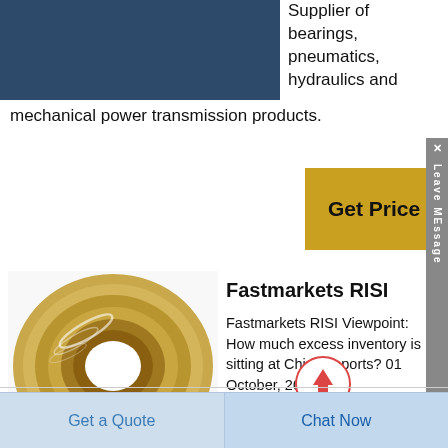[Figure (photo): Dark blue rectangle, partial product image at top left]
Supplier of bearings, pneumatics, hydraulics and mechanical power transmission products.
[Figure (other): Yellow 'Get Price' button]
[Figure (illustration): Bronze/gold cylindrical bearing ring shown from above, spiral grooves visible inside]
Fastmarkets RISI
Fastmarkets RISI Viewpoint: How much excess inventory is sitting at Chinese ports? 01 October, 2020. By David Fortin, Vice President, Fiber Economic
[Figure (other): Scroll-to-top circular button with upward arrow]
[Figure (other): Leave Message sidebar tab]
Get a Quote
Chat Now